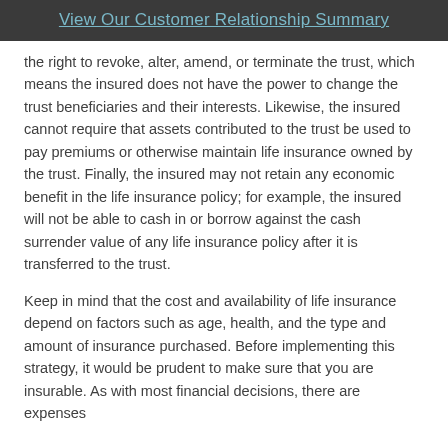View Our Customer Relationship Summary
the right to revoke, alter, amend, or terminate the trust, which means the insured does not have the power to change the trust beneficiaries and their interests. Likewise, the insured cannot require that assets contributed to the trust be used to pay premiums or otherwise maintain life insurance owned by the trust. Finally, the insured may not retain any economic benefit in the life insurance policy; for example, the insured will not be able to cash in or borrow against the cash surrender value of any life insurance policy after it is transferred to the trust.
Keep in mind that the cost and availability of life insurance depend on factors such as age, health, and the type and amount of insurance purchased. Before implementing this strategy, it would be prudent to make sure that you are insurable. As with most financial decisions, there are expenses